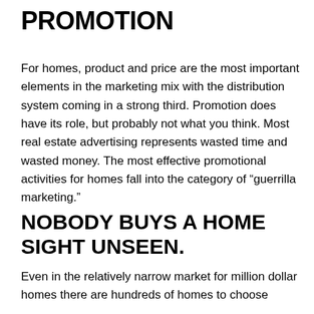PROMOTION
For homes, product and price are the most important elements in the marketing mix with the distribution system coming in a strong third. Promotion does have its role, but probably not what you think. Most real estate advertising represents wasted time and wasted money. The most effective promotional activities for homes fall into the category of “guerrilla marketing.”
NOBODY BUYS A HOME SIGHT UNSEEN.
Even in the relatively narrow market for million dollar homes there are hundreds of homes to choose